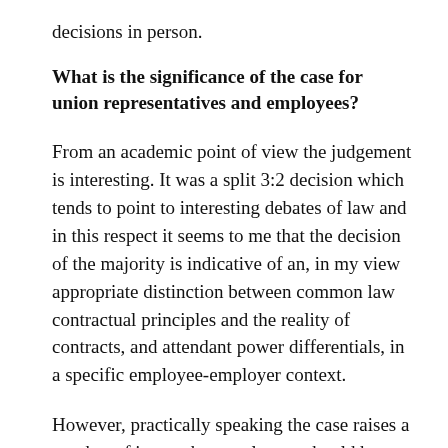decisions in person.
What is the significance of the case for union representatives and employees?
From an academic point of view the judgement is interesting. It was a split 3:2 decision which tends to point to interesting debates of law and in this respect it seems to me that the decision of the majority is indicative of an, in my view appropriate distinction between common law contractual principles and the reality of contracts, and attendant power differentials, in a specific employee-employer context.
However, practically speaking the case raises a number of issues that employees should be aware of aside from